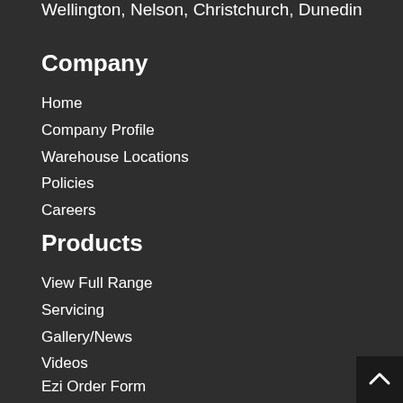Wellington, Nelson, Christchurch, Dunedin
Company
Home
Company Profile
Warehouse Locations
Policies
Careers
Products
View Full Range
Servicing
Gallery/News
Videos
Ezi Order Form